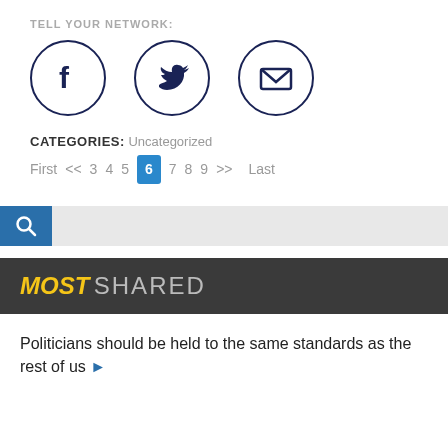TELL YOUR NETWORK:
[Figure (infographic): Three social sharing icons in circles: Facebook (f), Twitter (bird), and Email (envelope)]
CATEGORIES: Uncategorized
Pagination: First << 3 4 5 6 7 8 9 >> Last (6 is active/highlighted)
[Figure (other): Search bar with blue search icon on left and grey input area]
MOST SHARED
Politicians should be held to the same standards as the rest of us ▶